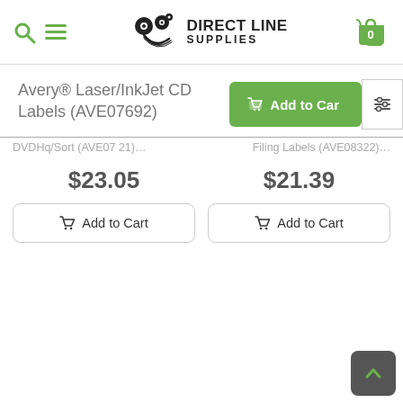[Figure (logo): Direct Line Supplies logo with shopping cart icon showing 0 items, search and menu icons on the left]
Avery® Laser/InkJet CD Labels (AVE07692)
$23.05
$21.39
Add to Cart
Add to Cart
Add to Cart